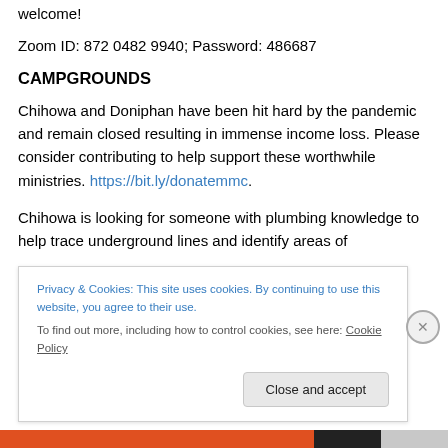welcome!
Zoom ID: 872 0482 9940; Password: 486687
CAMPGROUNDS
Chihowa and Doniphan have been hit hard by the pandemic and remain closed resulting in immense income loss. Please consider contributing to help support these worthwhile ministries. https://bit.ly/donatemmc.
Chihowa is looking for someone with plumbing knowledge to help trace underground lines and identify areas of
Privacy & Cookies: This site uses cookies. By continuing to use this website, you agree to their use.
To find out more, including how to control cookies, see here: Cookie Policy